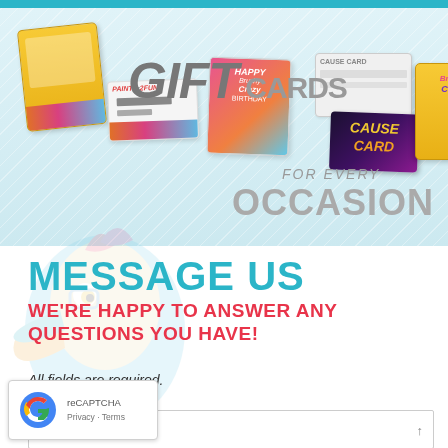[Figure (illustration): Gift cards promotional banner showing multiple colorful gift cards with text 'GIFT CARDS FOR EVERY OCCASION' on a light blue diagonal-striped background]
MESSAGE US
WE'RE HAPPY TO ANSWER ANY QUESTIONS YOU HAVE!
All fields are required.
First Name
[Figure (illustration): Colorful cartoon bird mascot (toucan) watermark in background]
[Figure (screenshot): Form input field with placeholder text 'First Name']
lame
[Figure (logo): Google reCAPTCHA badge with logo and Privacy/Terms links]